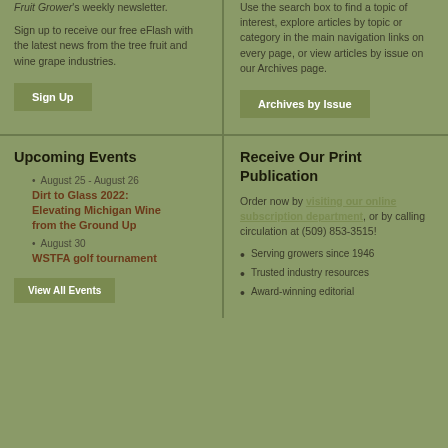Fruit Grower's weekly newsletter.
Sign up to receive our free eFlash with the latest news from the tree fruit and wine grape industries.
Use the search box to find a topic of interest, explore articles by topic or category in the main navigation links on every page, or view articles by issue on our Archives page.
Sign Up
Archives by Issue
Upcoming Events
August 25 - August 26
Dirt to Glass 2022: Elevating Michigan Wine from the Ground Up
August 30
WSTFA golf tournament
View All Events
Receive Our Print Publication
Order now by visiting our online subscription department, or by calling circulation at (509) 853-3515!
Serving growers since 1946
Trusted industry resources
Award-winning editorial